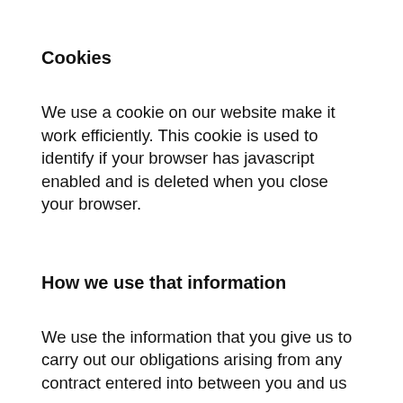Cookies
We use a cookie on our website make it work efficiently. This cookie is used to identify if your browser has javascript enabled and is deleted when you close your browser.
How we use that information
We use the information that you give us to carry out our obligations arising from any contract entered into between you and us